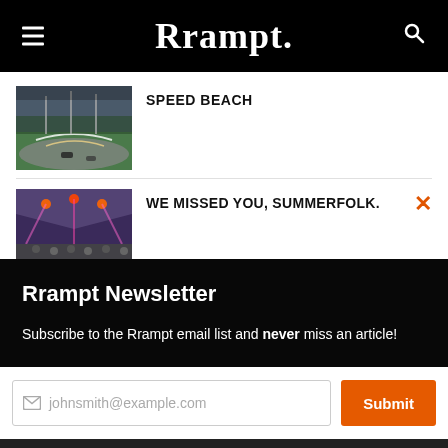Rrampt.
SPEED BEACH
[Figure (photo): Aerial or elevated photo of a racing track with cars and light trails, green field, stormy sky]
WE MISSED YOU, SUMMERFOLK.
[Figure (photo): Indoor arena or event venue with colorful lighting and a crowd overhead view]
Rrampt Newsletter
Subscribe to the Rrampt email list and never miss an article!
johnsmith@example.com
Submit
LOG IN TO LEAVE A COMMENT
Never see this message again.